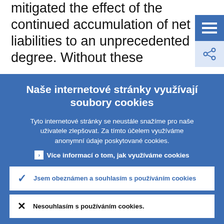mitigated the effect of the continued accumulation of net liabilities to an unprecedented degree. Without these
[Figure (screenshot): Blue hamburger menu button (three horizontal lines) in top right corner]
[Figure (screenshot): Light blue share/link button in top right corner below menu button]
Naše internetové stránky využívají soubory cookies
Tyto internetové stránky se neustále snažíme pro naše uživatele zlepšovat. Za tímto účelem využíváme anonymní údaje poskytované cookies.
▸ Více informací o tom, jak využíváme cookies
✓ Jsem obeznámen a souhlasím s používáním cookies
✕ Nesouhlasím s používáním cookies.